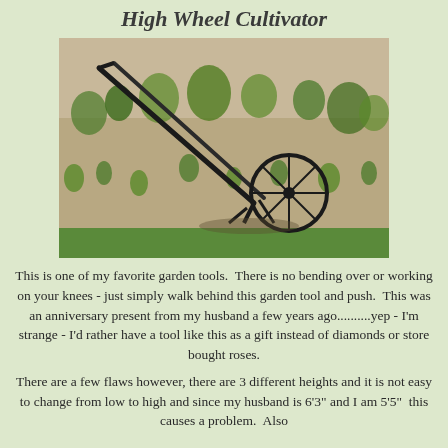High Wheel Cultivator
[Figure (photo): A high wheel cultivator garden tool lying on its side in a garden plot with plants and bare soil, with green grass visible at the bottom edge.]
This is one of my favorite garden tools.  There is no bending over or working on your knees - just simply walk behind this garden tool and push.  This was an anniversary present from my husband a few years ago..........yep - I'm strange - I'd rather have a tool like this as a gift instead of diamonds or store bought roses.
There are a few flaws however, there are 3 different heights and it is not easy to change from low to high and since my husband is 6'3" and I am 5'5"  this causes a problem.  Also